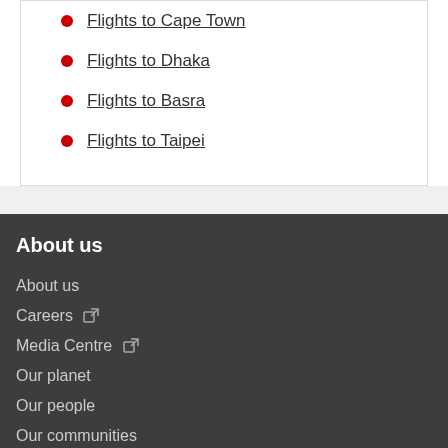Flights to Cape Town
Flights to Dhaka
Flights to Basra
Flights to Taipei
About us
About us
Careers
Media Centre
Our planet
Our people
Our communities
Help